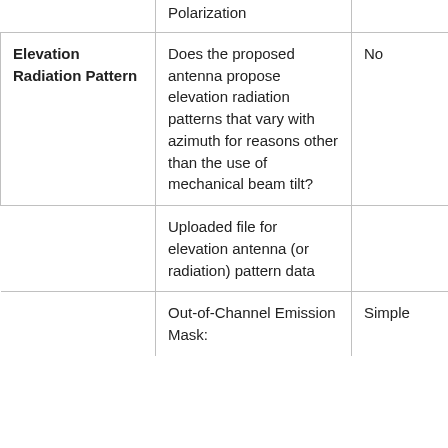|  | Polarization |  |
| Elevation Radiation Pattern | Does the proposed antenna propose elevation radiation patterns that vary with azimuth for reasons other than the use of mechanical beam tilt? | No |
|  | Uploaded file for elevation antenna (or radiation) pattern data |  |
|  | Out-of-Channel Emission Mask: | Simple |